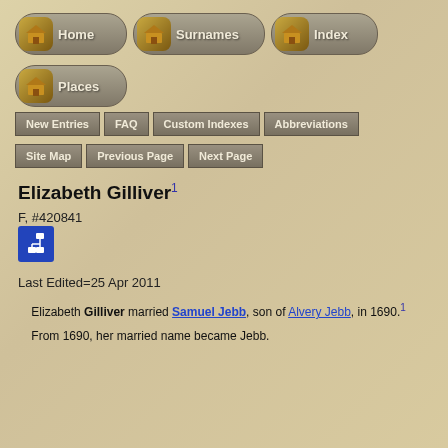[Figure (screenshot): Navigation icon buttons for Home, Surnames, Index, Places with golden chest icons on rounded grey background buttons]
New Entries
FAQ
Custom Indexes
Abbreviations
Site Map
Previous Page
Next Page
Elizabeth Gilliver1
F, #420841
[Figure (other): Blue square icon with a diagram/relationship chart symbol]
Last Edited=25 Apr 2011
Elizabeth Gilliver married Samuel Jebb, son of Alvery Jebb, in 1690.1
From 1690, her married name became Jebb.